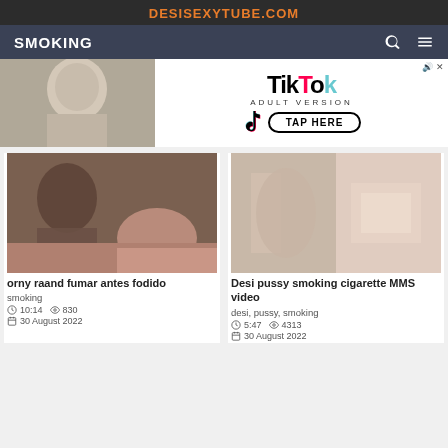DESISEXYTUBE.COM
SMOKING
[Figure (photo): TikTok Adult Version advertisement banner with TAP HERE button]
[Figure (photo): Video thumbnail for 'orny raand fumar antes fodido']
orny raand fumar antes fodido
smoking
10:14  830
30 August 2022
[Figure (photo): Video thumbnail for 'Desi pussy smoking cigarette MMS video']
Desi pussy smoking cigarette MMS video
desi, pussy, smoking
5:47  4313
30 August 2022